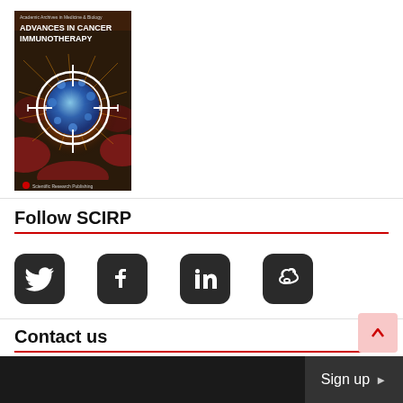[Figure (illustration): Book cover for 'Advances in Cancer Immunotherapy' published by Scientific Research Publishing, featuring a cancer cell in a crosshair/target sight on a red and orange background]
Follow SCIRP
[Figure (infographic): Four social media icons in dark rounded square boxes: Twitter bird, Facebook F, LinkedIn 'in', and Weibo icons]
Contact us
Sign up